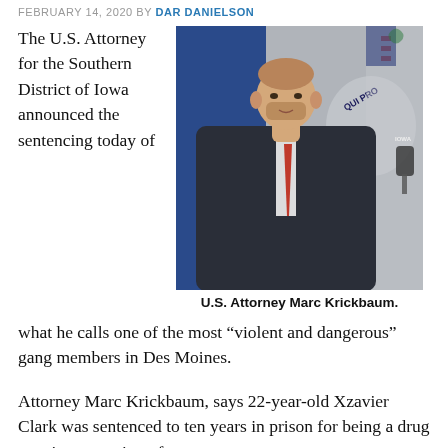FEBRUARY 14, 2020 BY DAR DANIELSON
The U.S. Attorney for the Southern District of Iowa announced the sentencing today of what he calls one of the most “violent and dangerous” gang members in Des Moines.
[Figure (photo): Man in dark suit with red tie speaking at a press conference in front of U.S. Department of Justice and Iowa state flags]
U.S. Attorney Marc Krickbaum.
Attorney Marc Krickbaum, says 22-year-old Xzavier Clark was sentenced to ten years in prison for being a drug user in possession of a